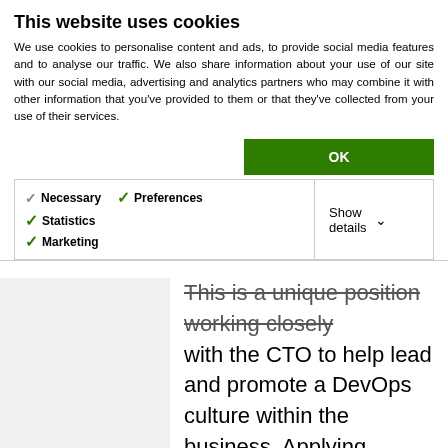This website uses cookies
We use cookies to personalise content and ads, to provide social media features and to analyse our traffic. We also share information about your use of our site with our social media, advertising and analytics partners who may combine it with other information that you've provided to them or that they've collected from your use of their services.
OK
| Necessary | Preferences | Statistics | Show details |
| --- | --- | --- | --- |
| ✓ Necessary | ✓ Preferences | ✓ Statistics | Show details ∨ |
| ✓ Marketing |  |  |  |
This is a unique position working closely with the CTO to help lead and promote a DevOps culture within the business. Applying software / systems & platform engineering expertise, to help build a DevOps mindset. Using your technical expertise to build relationships with the DevOps, SW Engineering, SRE, and Infrastructure Operations teams, with the objective of building systems to the best possible standards.